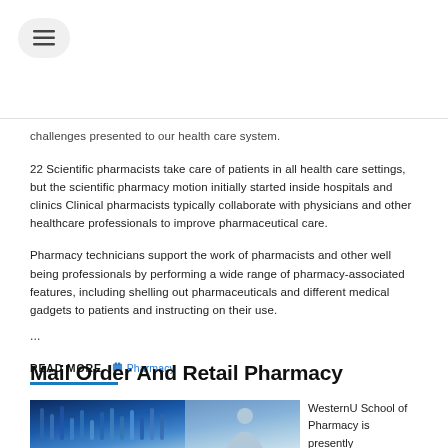challenges presented to our health care system.
22 Scientific pharmacists take care of patients in all health care settings, but the scientific pharmacy motion initially started inside hospitals and clinics Clinical pharmacists typically collaborate with physicians and other healthcare professionals to improve pharmaceutical care.
Pharmacy technicians support the work of pharmacists and other well being professionals by performing a wide range of pharmacy-associated features, including shelling out pharmaceuticals and different medical gadgets to patients and instructing on their use.
...
READ MORE  📁 Pharmacy
Mail Order And Retail Pharmacy
WesternU School of Pharmacy is presently